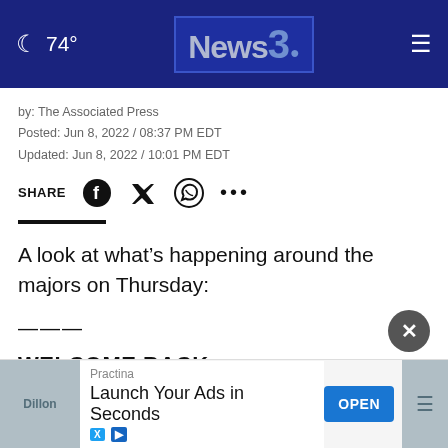🌙 74° | News3 | ≡
by: The Associated Press
Posted: Jun 8, 2022 / 08:37 PM EDT
Updated: Jun 8, 2022 / 10:01 PM EDT
SHARE [Facebook] [Twitter] [WhatsApp] ...
A look at what's happening around the majors on Thursday:
———
WELCOME BACK
[Figure (screenshot): Advertisement banner: Practina - Launch Your Ads in Seconds, with OPEN button]